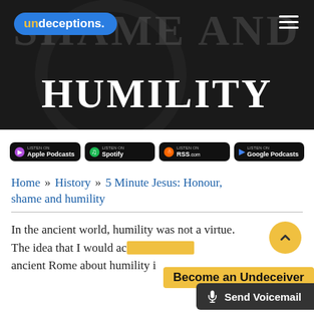[Figure (screenshot): Hero image with dark background showing partial text 'SHAME AND' faded, with 'undeceptions.' logo badge overlaid on the left, hamburger menu icon on the right, and large bold white text 'HUMILITY' at the bottom.]
undeceptions.
HUMILITY
[Figure (infographic): Row of four black podcast listening buttons: LISTEN ON Apple Podcasts, LISTEN ON Spotify, LISTEN ON RSS.com, LISTEN ON Google Podcasts]
Home » History » 5 Minute Jesus: Honour, shame and humility
In the ancient world, humility was not a virtue. The idea that I would ac[…] ancient Rome about humility i[…]
[Figure (infographic): Yellow 'Become an Undeceiver' call-to-action banner overlapping the body text]
[Figure (infographic): Dark 'Send Voicemail' button with microphone icon at the bottom right]